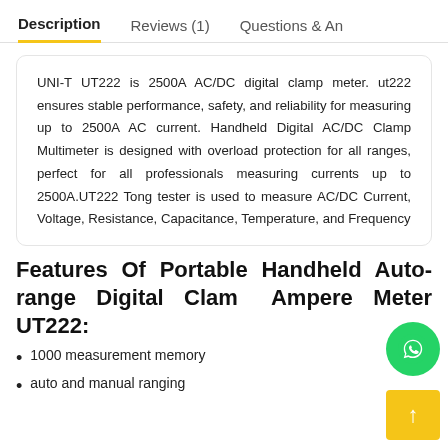Description   Reviews (1)   Questions & An
UNI-T UT222 is 2500A AC/DC digital clamp meter. ut222 ensures stable performance, safety, and reliability for measuring up to 2500A AC current. Handheld Digital AC/DC Clamp Multimeter is designed with overload protection for all ranges, perfect for all professionals measuring currents up to 2500A.UT222 Tong tester is used to measure AC/DC Current, Voltage, Resistance, Capacitance, Temperature, and Frequency
Features Of Portable Handheld Auto-range Digital Clamp Ampere Meter UT222:
1000 measurement memory
auto and manual ranging